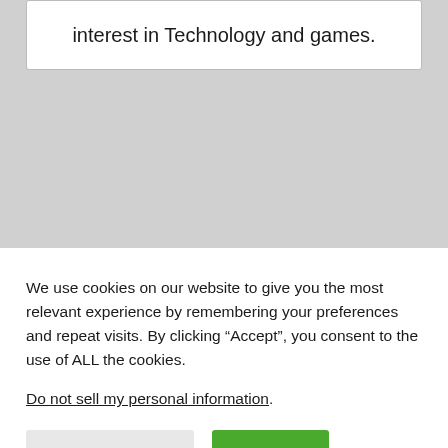interest in Technology and games.
We use cookies on our website to give you the most relevant experience by remembering your preferences and repeat visits. By clicking “Accept”, you consent to the use of ALL the cookies.
Do not sell my personal information.
Cookie Settings
Accept